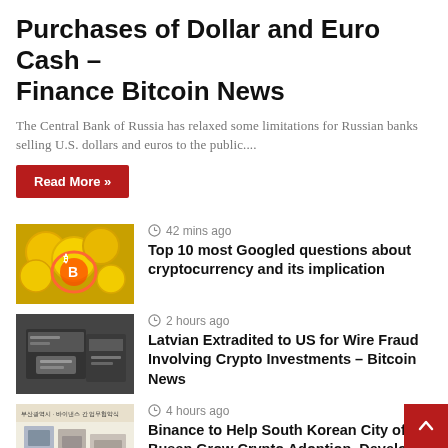Purchases of Dollar and Euro Cash – Finance Bitcoin News
The Central Bank of Russia has relaxed some limitations for Russian banks selling U.S. dollars and euros to the public....
Read More »
[Figure (photo): Cryptocurrency coins with colorful artistic design]
42 mins ago
Top 10 most Googled questions about cryptocurrency and its implication
[Figure (photo): Person in checkered shirt, wire fraud concept image]
2 hours ago
Latvian Extradited to US for Wire Fraud Involving Crypto Investments – Bitcoin News
[Figure (photo): Binance and South Korean City of Busan signing ceremony]
4 hours ago
Binance to Help South Korean City of Busan Grow Crypto Adoption, Develop Blockchain Ecosystem – Regulation Bitcoin News
[Figure (photo): SEC badge and Twitter logo, blue background]
6 hours ago
SEC Probes Twitter Over Spam Accounts —